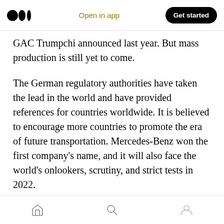Medium app header with logo, Open in app, Get started button
GAC Trumpchi announced last year. But mass production is still yet to come.
The German regulatory authorities have taken the lead in the world and have provided references for countries worldwide. It is believed to encourage more countries to promote the era of future transportation. Mercedes-Benz won the first company’s name, and it will also face the world’s onlookers, scrutiny, and strict tests in 2022.
The last visible line at the bottom (partially cut off)
Bottom navigation bar with home, search, and profile icons